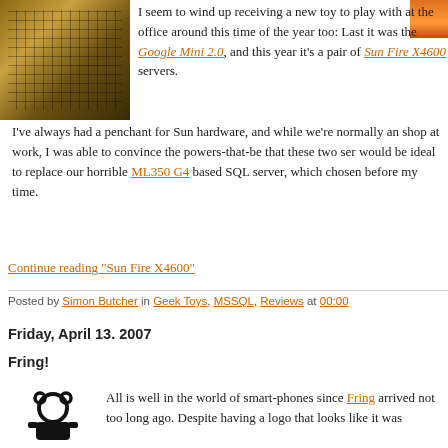[Figure (photo): Photo of a keyboard with brown/orange tones, partially visible at top left]
I seem to wind up receiving a new toy to play with at the office around this time of the year too: Last it was the Google Mini 2.0, and this year it's a pair of Sun Fire X4600 servers.
I've always had a penchant for Sun hardware, and while we're normally an shop at work, I was able to convince the powers-that-be that these two ser would be ideal to replace our horrible ML350 G4 based SQL server, which chosen before my time.
Continue reading "Sun Fire X4600"
Posted by Simon Butcher in Geek Toys, MSSQL, Reviews at 00:00
Friday, April 13. 2007
Fring!
[Figure (illustration): Fring logo/icon - black cartoon character resembling a stamp or frog-like figure]
All is well in the world of smart-phones since Fring arrived not too long ago. Despite having a logo that looks like it was